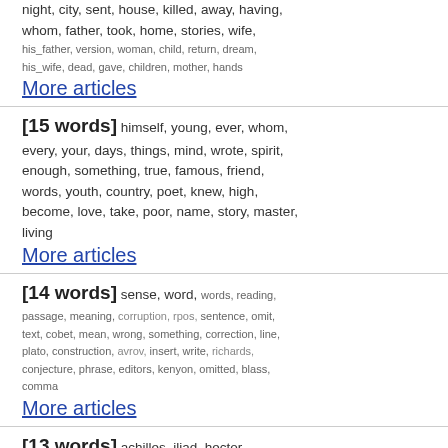night, city, sent, house, killed, away, having, whom, father, took, home, stories, wife, his_father, version, woman, child, return, dream, his_wife, dead, gave, children, mother, hands
More articles
[15 words] himself, young, ever, whom, every, your, days, things, mind, wrote, spirit, enough, something, true, famous, friend, words, youth, country, poet, knew, high, become, love, take, poor, name, story, master, living
More articles
[14 words] sense, word, words, reading, passage, meaning, corruption, rpos, sentence, omit, text, cobet, mean, wrong, something, correction, line, plato, construction, avrov, insert, write, richards, conjecture, phrase, editors, kenyon, omitted, blass, comma
More articles
[13 words] achilles, iliad, hector, agamemnon, homer, troy, ajax, odysseus, patroclus, priam, homeric, diomedes, trojans,